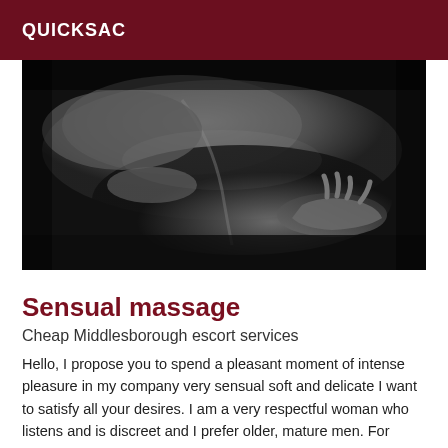QUICKSAC
[Figure (photo): Black and white close-up photograph of a sensual massage scene showing hands on a person's back and body]
Sensual massage
Cheap Middlesborough escort services
Hello, I propose you to spend a pleasant moment of intense pleasure in my company very sensual soft and delicate I want to satisfy all your desires. I am a very respectful woman who listens and is discreet and I prefer older, mature men. For more information please contact...